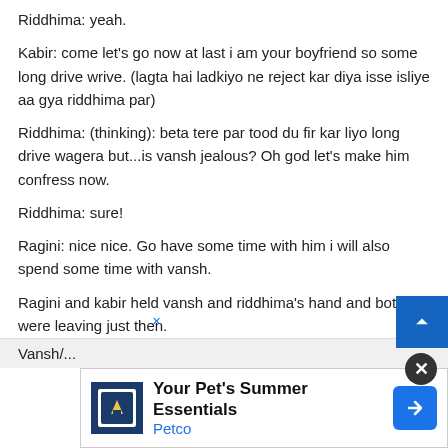Riddhima: yeah.
Kabir: come let’s go now at last i am your boyfriend so some long drive wrive. (lagta hai ladkiyo ne reject kar diya isse isliye aa gya riddhima par)
Riddhima: (thinking): beta tere par tood du fir kar liyo long drive wagera but…is vansh jealous? Oh god let’s make him confress now.
Riddhima: sure!
Ragini: nice nice. Go have some time with him i will also spend some time with vansh.
Ragini and kabir held vansh and riddhima’s hand and both were leaving just then.
Vansh/...
[Figure (screenshot): Petco ad banner: 'Your Pet's Summer Essentials' with Petco logo and navigation icon]
[Figure (other): Blue scroll-to-top button with upward arrow]